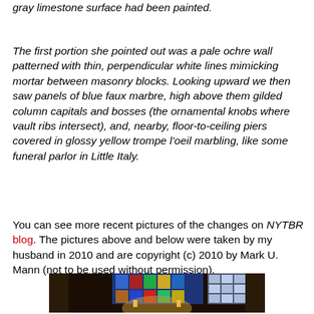gray limestone surface had been painted.
The first portion she pointed out was a pale ochre wall patterned with thin, perpendicular white lines mimicking mortar between masonry blocks. Looking upward we then saw panels of blue faux marbre, high above them gilded column capitals and bosses (the ornamental knobs where vault ribs intersect), and, nearby, floor-to-ceiling piers covered in glossy yellow trompe l’oeil marbling, like some funeral parlor in Little Italy.
You can see more recent pictures of the changes on NYTBR blog. The pictures above and below were taken by my husband in 2010 and are copyright (c) 2010 by Mark U. Mann (not to be used without permission).
[Figure (photo): Interior of a cathedral showing gilded altar, stained glass windows with blue and multicolor glass, chandeliers/light fixtures, and ornate gothic architecture.]